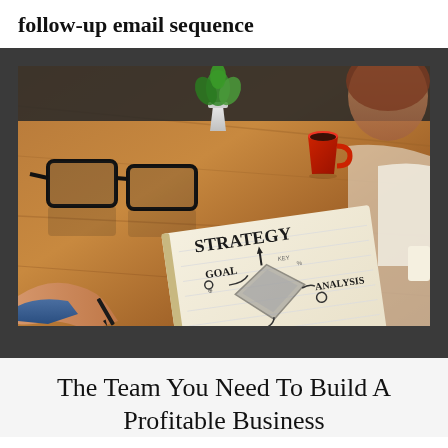follow-up email sequence
[Figure (photo): Person sitting at a wooden desk writing in a notebook with business strategy diagram showing words STRATEGY, GOAL, ANALYSIS, SALE, with glasses, a red coffee cup, and a green plant in the background.]
The Team You Need To Build A Profitable Business